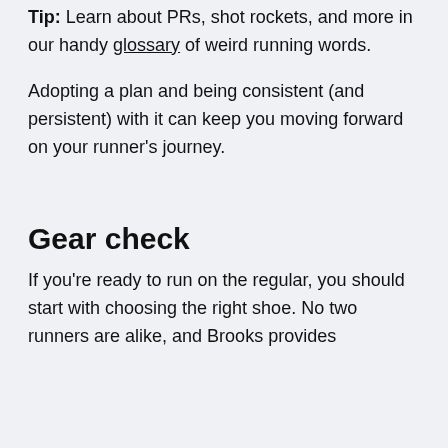Tip: Learn about PRs, shot rockets, and more in our handy glossary of weird running words.
Adopting a plan and being consistent (and persistent) with it can keep you moving forward on your runner’s journey.
Gear check
If you’re ready to run on the regular, you should start with choosing the right shoe. No two runners are alike, and Brooks provides